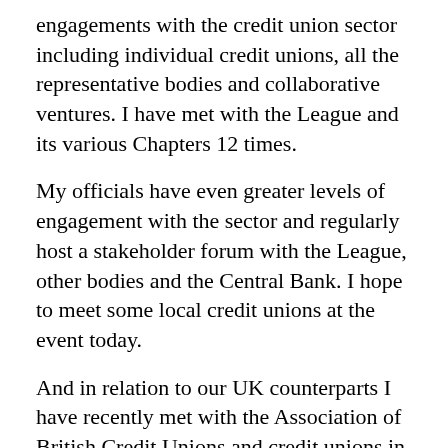engagements with the credit union sector including individual credit unions, all the representative bodies and collaborative ventures. I have met with the League and its various Chapters 12 times.
My officials have even greater levels of engagement with the sector and regularly host a stakeholder forum with the League, other bodies and the Central Bank. I hope to meet some local credit unions at the event today.
And in relation to our UK counterparts I have recently met with the Association of British Credit Unions and credit unions in Manchester, Leeds, Glasgow and Edinburgh, all of which was organised by the Swoboda Research Centre. In December 2021 I also met with my UK equivalent Minister John Glen.This gave me insight into the differing issues at play across the